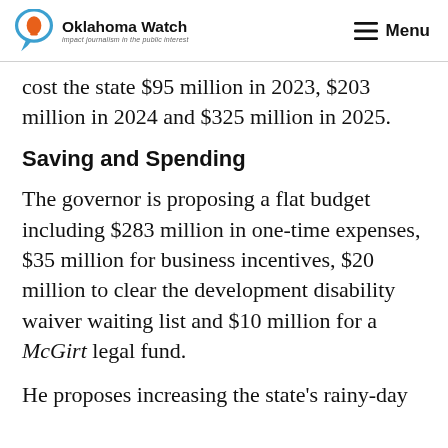Oklahoma Watch — impact journalism in the public interest | Menu
cost the state $95 million in 2023, $203 million in 2024 and $325 million in 2025.
Saving and Spending
The governor is proposing a flat budget including $283 million in one-time expenses, $35 million for business incentives, $20 million to clear the development disability waiver waiting list and $10 million for a McGirt legal fund.
He proposes increasing the state's rainy-day